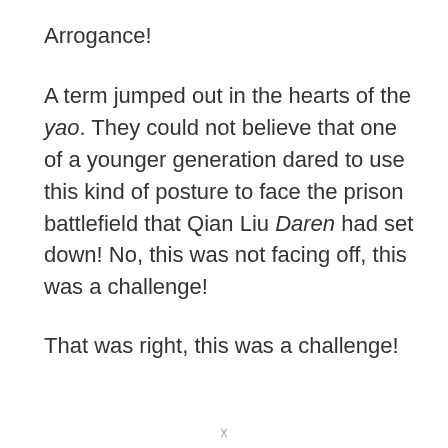Arrogance!
A term jumped out in the hearts of the yao. They could not believe that one of a younger generation dared to use this kind of posture to face the prison battlefield that Qian Liu Daren had set down! No, this was not facing off, this was a challenge!
That was right, this was a challenge!
x